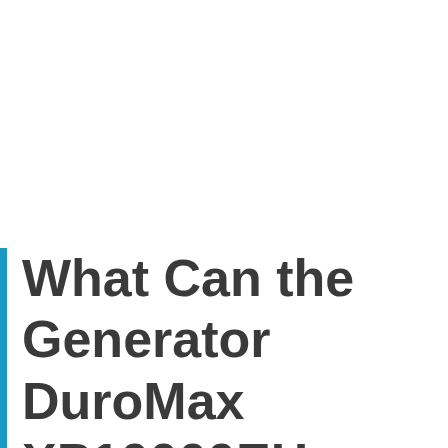What Can the Generator DuroMax XP10000EH